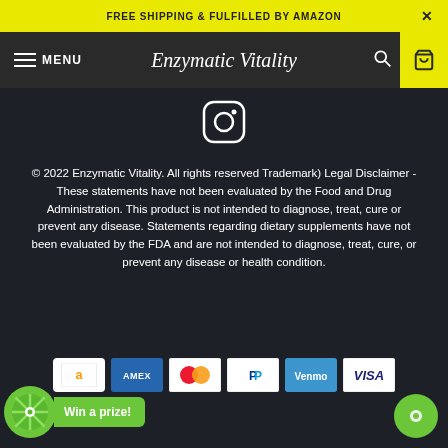FREE SHIPPING & FULFILLED BY AMAZON
MENU — Enzymatic Vitality
[Figure (logo): Instagram icon (circle with camera outline)]
© 2022 Enzymatic Vitality. All rights reserved Trademark) Legal Disclaimer - These statements have not been evaluated by the Food and Drug Administration. This product is not intended to diagnose, treat, cure or prevent any disease. Statements regarding dietary supplements have not been evaluated by the FDA and are not intended to diagnose, treat, cure, or prevent any disease or health condition.
[Figure (other): Payment method icons: Amazon, AMEX, Mastercard, PayPal, Venmo, VISA]
[Figure (other): Win a prize spin wheel widget (green)]
[Figure (other): Green chat button bottom right]